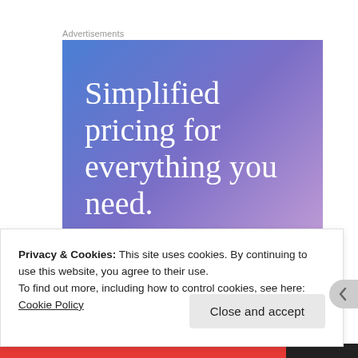Advertisements
[Figure (illustration): Advertisement banner with blue-to-purple gradient background and white serif text reading 'Simplified pricing for everything you need.']
Privacy & Cookies: This site uses cookies. By continuing to use this website, you agree to their use.
To find out more, including how to control cookies, see here: Cookie Policy